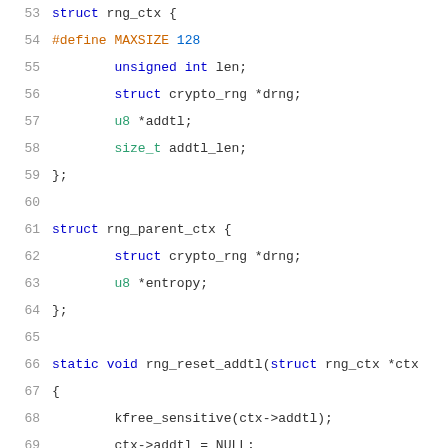Code snippet lines 53-74 showing C structs rng_ctx and rng_parent_ctx, and functions rng_reset_addtl and _rng_recvmsg